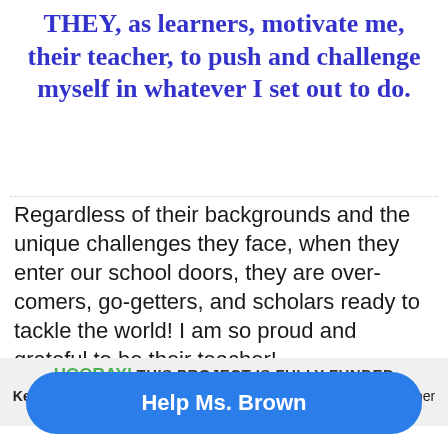THEY, as learners, motivate me, their teacher, to push and challenge myself in whatever I set out to do.
Regardless of their backgrounds and the unique challenges they face, when they enter our school doors, they are over-comers, go-getters, and scholars ready to tackle the world! I am so proud and grateful to be their teacher!
HOORAY! THIS PROJECT IS FULLY FUNDED
Keep the momentum going! Make a donation to Ms. Brown for her next project!
Help Ms. Brown